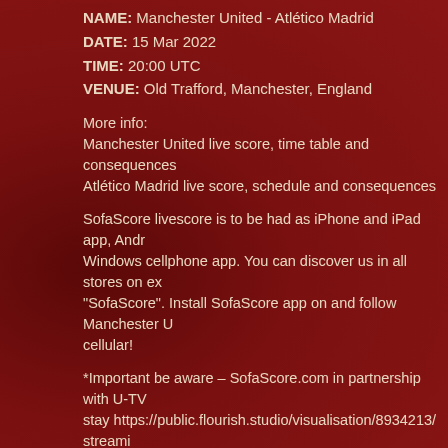NAME: Manchester United - Atlético Madrid
DATE: 15 Mar 2022
TIME: 20:00 UTC
VENUE: Old Trafford, Manchester, England
More info:
Manchester United live score, time table and consequences
Atlético Madrid live score, schedule and consequences
SofaScore livescore is to be had as iPhone and iPad app, Andr... Windows cellphone app. You can discover us in all stores on ex... "SofaScore". Install SofaScore app on and follow Manchester U... cellular!
*Important be aware – SofaScore.com in partnership with U-TV... stay https://public.flourish.studio/visualisation/8934213/ streami... months. However, please note that the intellectual property righ... usually owned at a rustic stage and therefore, relying for your lo... that you will be not able to view because of such regulations. P... TV and investment your account so one can view Manchester U... precise event through the U-TV stay circulate, you are strongly ... depending for your area of house, it's far possible to view the st...
by magyar-hu - Maret 10, 2022